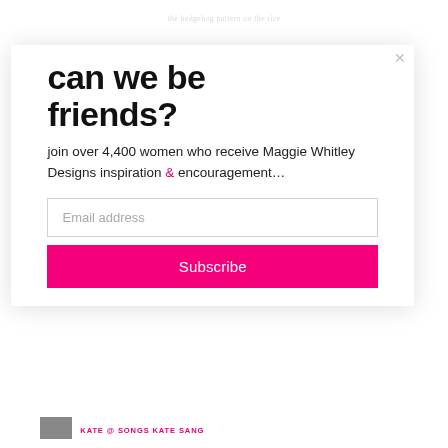the hedgehog pattern on the rice
can we be friends?
join over 4,400 women who receive Maggie Whitley Designs inspiration & encouragement...
Email address
Subscribe
KATE @ SONGS KATE SANG